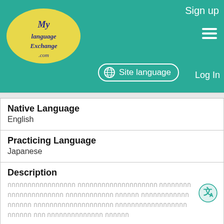MyLanguageExchange.com — Sign up | Site language | Log In
Native Language
English
Practicing Language
Japanese
Description
[Thai/non-latin script description text]
Name
[Figure (photo): Profile photo of a young woman with long blonde hair, smiling, outdoors with green foliage background]